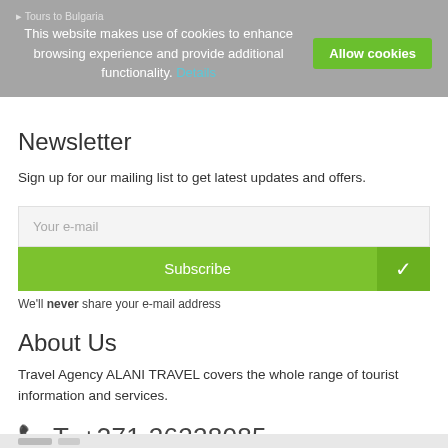Tours to Bulgaria
This website makes use of cookies to enhance browsing experience and provide additional functionality. Details
Newsletter
Sign up for our mailing list to get latest updates and offers.
Your e-mail
Subscribe
We'll never share your e-mail address
About Us
Travel Agency ALANI TRAVEL covers the whole range of tourist information and services.
T. +371 26228085